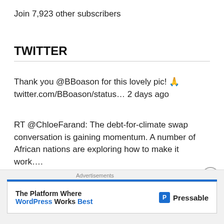Join 7,923 other subscribers
TWITTER
Thank you @BBoason for this lovely pic! 🙏 twitter.com/BBoason/status… 2 days ago
RT @ChloeFarand: The debt-for-climate swap conversation is gaining momentum. A number of African nations are exploring how to make it work…. 2 days ago
RT @stvincenttimes: SVG Tourism sector positioned to support long-term growth – IMF
Advertisements
[Figure (screenshot): Advertisement banner: 'The Platform Where WordPress Works Best' – Pressable]